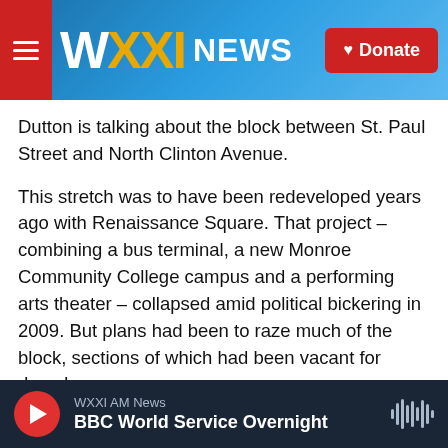[Figure (screenshot): WXXI News website header with logo, navigation menu button, and red Donate button on a blue gradient background]
Dutton is talking about the block between St. Paul Street and North Clinton Avenue.
This stretch was to have been redeveloped years ago with Renaissance Square. That project – combining a bus terminal, a new Monroe Community College campus and a performing arts theater – collapsed amid political bickering in 2009. But plans had been to raze much of the block, sections of which had been vacant for decades.
Little was spent on upkeep while Renaissance Square was under consideration. When the project
WXXI AM News
BBC World Service Overnight